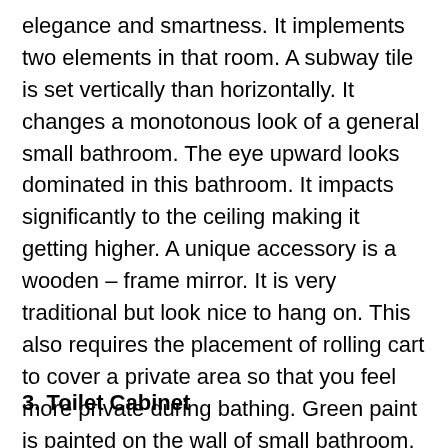elegance and smartness. It implements two elements in that room. A subway tile is set vertically than horizontally. It changes a monotonous look of a general small bathroom. The eye upward looks dominated in this bathroom. It impacts significantly to the ceiling making it getting higher. A unique accessory is a wooden – frame mirror. It is very traditional but look nice to hang on. This also requires the placement of rolling cart to cover a private area so that you feel more private during bathing. Green paint is painted on the wall of small bathroom. It adds a cheerful impression in the bathroom. (via hometalk)
3. Toilet Cabinet